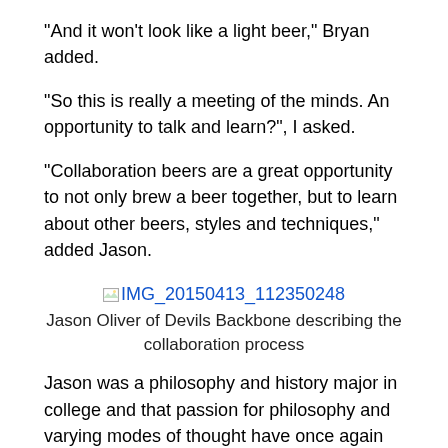“And it won’t look like a light beer,” Bryan added.
“So this is really a meeting of the minds. An opportunity to talk and learn?”, I asked.
“Collaboration beers are a great opportunity to not only brew a beer together, but to learn about other beers, styles and techniques,” added Jason.
[Figure (photo): Placeholder image link: IMG_20150413_112350248]
Jason Oliver of Devils Backbone describing the collaboration process
Jason was a philosophy and history major in college and that passion for philosophy and varying modes of thought have once again found their home in craft beer. “Brewing is very philosophical. When we collaborate we are basically discussing our philosophies of brewing.” My undergrad concentration was in theoretical politics, so